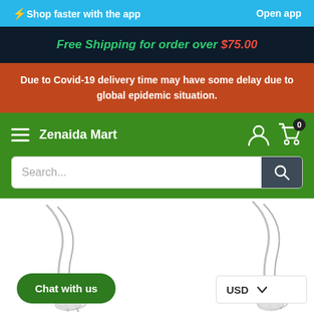⚡Shop faster with the app    Open app
Free Shipping for order over $75.00
Due to Covid-19 delivery time may have some delay due to global epidemic situation.
Zenaida Mart
Search...
[Figure (photo): Product images of silver jewelry/necklaces, shown in lower half of page]
Chat with us
USD